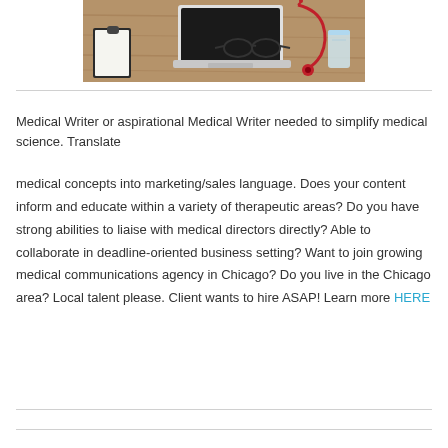[Figure (photo): Top-down photo of a wooden desk with a laptop, clipboard with blank paper, glasses, stethoscope, and a glass of water — medical/office setting]
Medical Writer or aspirational Medical Writer needed to simplify medical science. Translate
medical concepts into marketing/sales language. Does your content inform and educate within a variety of therapeutic areas? Do you have strong abilities to liaise with medical directors directly? Able to collaborate in deadline-oriented business setting? Want to join growing medical communications agency in Chicago? Do you live in the Chicago area? Local talent please. Client wants to hire ASAP! Learn more HERE